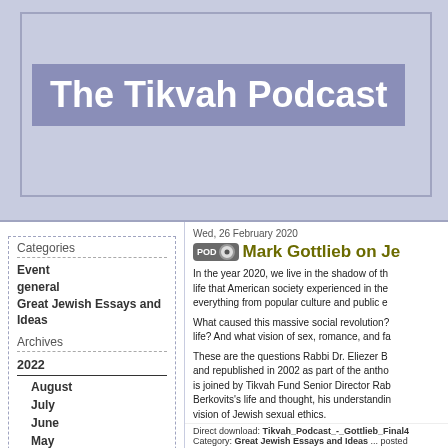The Tikvah Podcast
Categories
Event
general
Great Jewish Essays and Ideas
Archives
2022
August
July
June
May
April
March
February
January
2021
December
November
Wed, 26 February 2020
Mark Gottlieb on Je
In the year 2020, we live in the shadow of the life that American society experienced in the everything from popular culture and public e
What caused this massive social revolution? life? And what vision of sex, romance, and fa
These are the questions Rabbi Dr. Eliezer B and republished in 2002 as part of the antho is joined by Tikvah Fund Senior Director Rab Berkovits's life and thought, his understandin vision of Jewish sexual ethics.
Musical selections in this podcast are drawn Ben-Haim and performed by the ARC Ensem
Direct download: Tikvah_Podcast_-_Gottlieb_Final4 Category: Great Jewish Essays and Ideas ... posted